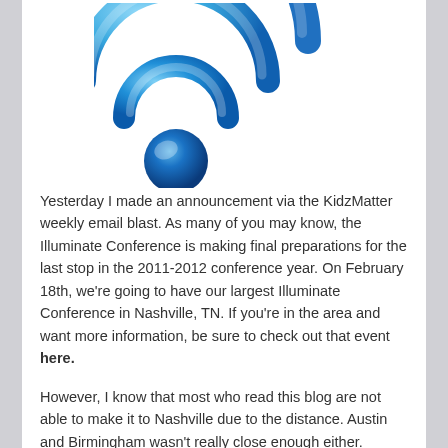[Figure (illustration): A stylized blue WiFi/RSS feed icon with a glowing blue sphere at the bottom and three curved blue gradient arcs above it, resembling a wireless signal symbol.]
Yesterday I made an announcement via the KidzMatter weekly email blast. As many of you may know, the Illuminate Conference is making final preparations for the last stop in the 2011-2012 conference year. On February 18th, we're going to have our largest Illuminate Conference in Nashville, TN. If you're in the area and want more information, be sure to check out that event here.
However, I know that most who read this blog are not able to make it to Nashville due to the distance. Austin and Birmingham wasn't really close enough either.